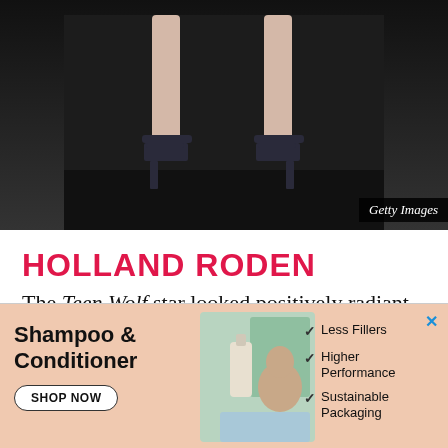[Figure (photo): Close-up photo of a person's feet wearing black strappy high heel sandals, shot from below on a dark surface. Getty Images watermark visible.]
Getty Images
HOLLAND RODEN
The Teen Wolf star looked positively radiant.
[Figure (infographic): Advertisement for Shampoo & Conditioner with peach background. Shows headline 'Shampoo & Conditioner', 'SHOP NOW' button, product image with child, and checklist: Less Fillers, Higher Performance, Sustainable Packaging.]